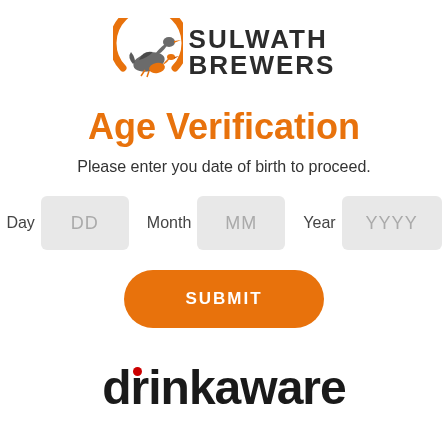[Figure (logo): Sulwath Brewers logo: an orange arc with a flying duck/goose silhouette on the left, and bold dark text 'SULWATH BREWERS' on the right]
Age Verification
Please enter you date of birth to proceed.
Day DD   Month MM   Year YYYY
SUBMIT
[Figure (logo): Drinkaware logo: bold black lowercase text 'drinkaware' with a small red dot above the letter 'i']